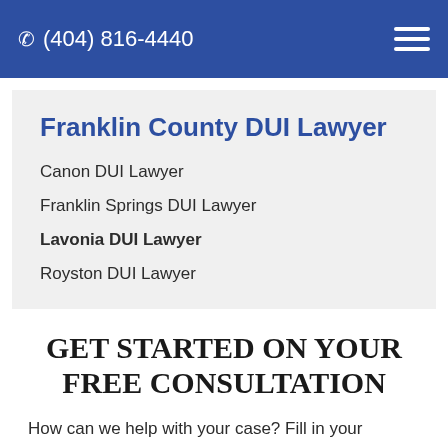(404) 816-4440
Franklin County DUI Lawyer
Canon DUI Lawyer
Franklin Springs DUI Lawyer
Lavonia DUI Lawyer
Royston DUI Lawyer
GET STARTED ON YOUR FREE CONSULTATION
How can we help with your case? Fill in your information below to get started. Our team will review your drunk